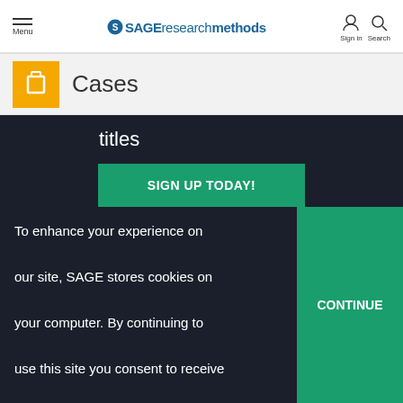Menu | SAGE researchmethods | Sign in | Search
Cases
titles
SIGN UP TODAY!
To enhance your experience on our site, SAGE stores cookies on your computer. By continuing to use this site you consent to receive cookies. Learn more.
CONTINUE